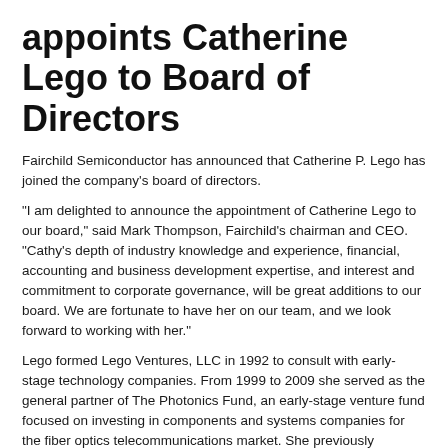appoints Catherine Lego to Board of Directors
Fairchild Semiconductor has announced that Catherine P. Lego has joined the company’s board of directors.
"I am delighted to announce the appointment of Catherine Lego to our board," said Mark Thompson, Fairchild’s chairman and CEO. "Cathy’s depth of industry knowledge and experience, financial, accounting and business development expertise, and interest and commitment to corporate governance, will be great additions to our board. We are fortunate to have her on our team, and we look forward to working with her."
Lego formed Lego Ventures, LLC in 1992 to consult with early-stage technology companies. From 1999 to 2009 she served as the general partner of The Photonics Fund, an early-stage venture fund focused on investing in components and systems companies for the fiber optics telecommunications market. She previously practiced as a certified public accountant with the accounting firm Coopers & Lybrand.